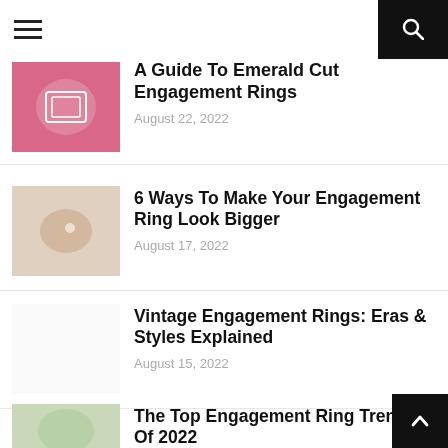Navigation bar with hamburger menu and search button
A Guide To Emerald Cut Engagement Rings
August 22, 2022
6 Ways To Make Your Engagement Ring Look Bigger
August 17, 2022
Vintage Engagement Rings: Eras & Styles Explained
August 15, 2022
The Top Engagement Ring Trends Of 2022